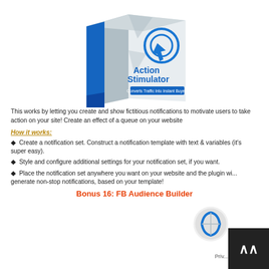[Figure (illustration): 3D product box for 'Action Stimulator - Converts Traffic Into Instant Buyers' with blue and white design, featuring a cursor/target icon]
This works by letting you create and show fictitious notifications to motivate users to take action on your site! Create an effect of a queue on your website
How it works:
Create a notification set. Construct a notification template with text & variables (it's super easy).
Style and configure additional settings for your notification set, if you want.
Place the notification set anywhere you want on your website and the plugin wi... generate non-stop notifications, based on your template!
Bonus 16: FB Audience Builder